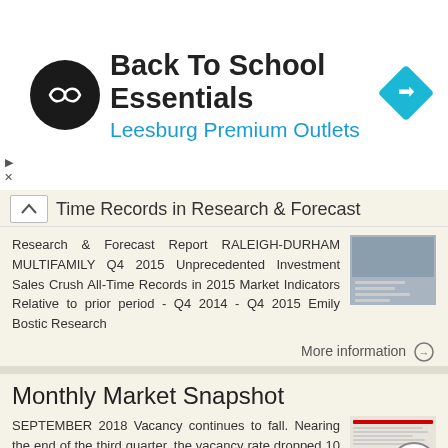[Figure (other): Advertisement banner: black circle logo with infinity/arrows symbol, title 'Back To School Essentials', subtitle 'Leesburg Premium Outlets', and a cyan diamond navigation arrow icon on the right. Play and X controls on far left.]
... Time Records in Research & Forecast
Research & Forecast Report RALEIGH-DURHAM MULTIFAMILY Q4 2015 Unprecedented Investment Sales Crush All-Time Records in 2015 Market Indicators Relative to prior period - Q4 2014 - Q4 2015 Emily Bostic Research
More information →
Monthly Market Snapshot
SEPTEMBER 2018 Vacancy continues to fall. Nearing the end of the third quarter, the vacancy rate dropped 10 basis points to 6.4%, compared to this time last month at